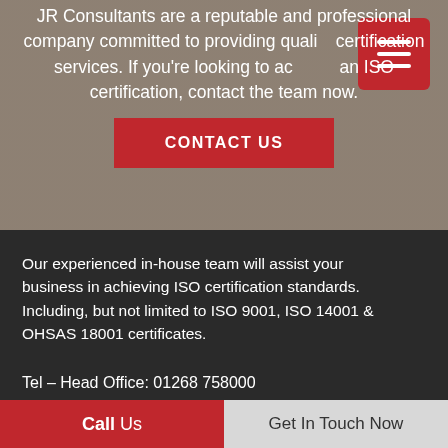JR Consultants are a reputable and professional company committed to providing quality certification services. If you're looking to achieve an ISO certification, contact the team now.
CONTACT US
Our experienced in-house team will assist your business in achieving ISO certification standards. Including, but not limited to ISO 9001, ISO 14001 & OHSAS 18001 certificates.
Tel – Head Office: 01268 758000
Call Us | Get In Touch Now